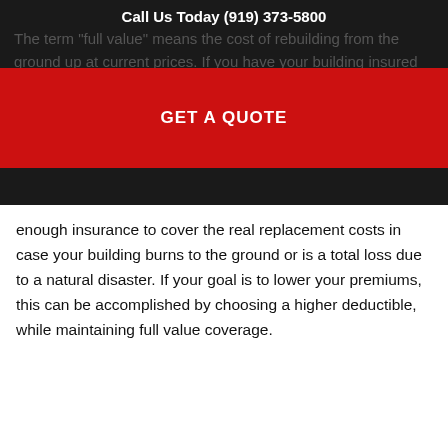Call Us Today (919) 373-5800
The term "full value" means the cost of rebuilding from the ground up at current prices. If you have your building insured for the cost of the building or the amount you are carrying on your books, it is probably not enough coverage. You should ensure you have
[Figure (other): Red banner with white bold text reading GET A QUOTE]
enough insurance to cover the real replacement costs in case your building burns to the ground or is a total loss due to a natural disaster. If your goal is to lower your premiums, this can be accomplished by choosing a higher deductible, while maintaining full value coverage.
What Does Commercial Property Insurance Cover?